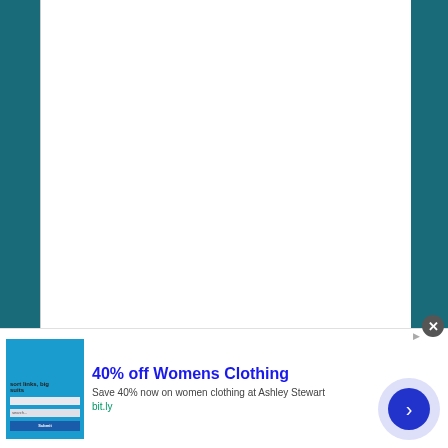[Figure (screenshot): Web browser page view showing a white document area against a teal/dark cyan background. The white content area is blank.]
[Figure (screenshot): Advertisement banner at the bottom of the page. Shows an ad for '40% off Womens Clothing' from Ashley Stewart. Contains a thumbnail screenshot image on the left, ad text in the middle (title in bold blue: '40% off Womens Clothing', description: 'Save 40% now on women clothing at Ashley Stewart', link: 'bit.ly'), a circular arrow button on the right, and a close (X) button.]